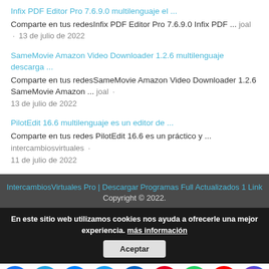Infix PDF Editor Pro 7.6.9.0 multilenguaje el ... Comparte en tus redesInfix PDF Editor Pro 7.6.9.0 Infix PDF ... joal · 13 de julio de 2022
SameMovie Amazon Video Downloader 1.2.6 multilenguaje descarga ... Comparte en tus redesSameMovie Amazon Video Downloader 1.2.6 SameMovie Amazon ... joal · 13 de julio de 2022
PilotEdit 16.6 multilenguaje es un editor de ... Comparte en tus redes PilotEdit 16.6 es un práctico y ... intercambiosvirtuales · 11 de julio de 2022
IntercambiosVirtuales Pro | Descargar Programas Full Actualizados 1 Link Copyright © 2022.
En este sitio web utilizamos cookies nos ayuda a ofrecerle una mejor experiencia. más información
[Figure (infographic): Social media sharing icons bar at bottom: Facebook (blue), Telegram (light blue), Messenger (blue), Twitter (light blue), LinkedIn (dark blue), Pinterest (red), WhatsApp (green), YouTube (red), Instagram (gradient)]